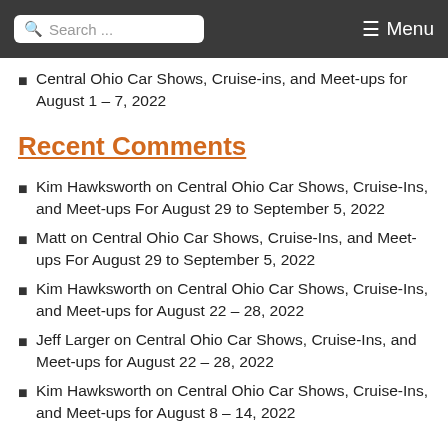Search ... Menu
Central Ohio Car Shows, Cruise-ins, and Meet-ups for August 1 – 7, 2022
Recent Comments
Kim Hawksworth on Central Ohio Car Shows, Cruise-Ins, and Meet-ups For August 29 to September 5, 2022
Matt on Central Ohio Car Shows, Cruise-Ins, and Meet-ups For August 29 to September 5, 2022
Kim Hawksworth on Central Ohio Car Shows, Cruise-Ins, and Meet-ups for August 22 – 28, 2022
Jeff Larger on Central Ohio Car Shows, Cruise-Ins, and Meet-ups for August 22 – 28, 2022
Kim Hawksworth on Central Ohio Car Shows, Cruise-Ins, and Meet-ups for August 8 – 14, 2022